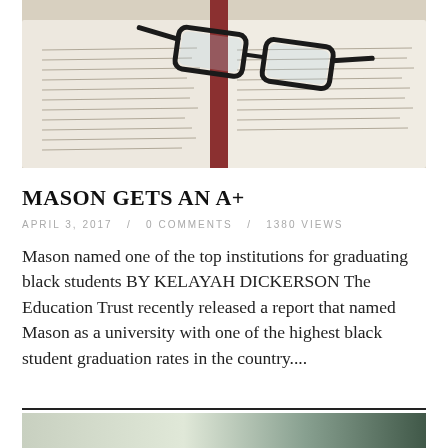[Figure (photo): Open book with glasses resting on top, photographed from above at an angle]
MASON GETS AN A+
APRIL 3, 2017  /  0 COMMENTS  /  1380 VIEWS
Mason named one of the top institutions for graduating black students BY KELAYAH DICKERSON The Education Trust recently released a report that named Mason as a university with one of the highest black student graduation rates in the country....
[Figure (photo): Partial photo of what appears to be an interior space, cropped at bottom of page]